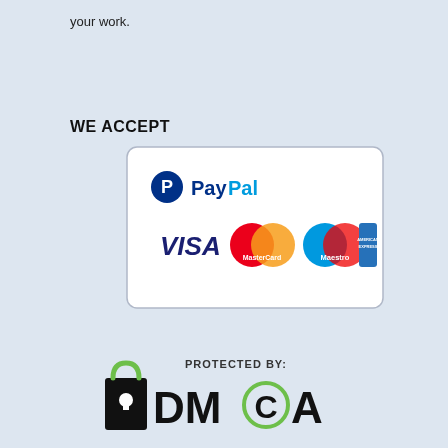your work.
WE ACCEPT
[Figure (logo): Payment methods banner with rounded rectangle border showing PayPal, Visa, MasterCard, Maestro, and American Express logos]
[Figure (logo): DMCA Protected badge with lock icon and green circle around C, text reading PROTECTED BY: DMCA]